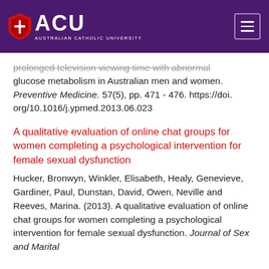[Figure (logo): ACU (Australian Catholic University) logo with shield icon on purple header background, with hamburger menu icon on right]
prolonged television viewing time with abnormal glucose metabolism in Australian men and women. Preventive Medicine. 57(5), pp. 471 - 476. https://doi.org/10.1016/j.ypmed.2013.06.023
A qualitative evaluation of online chat groups for women completing a psychological intervention for female sexual dysfunction
Hucker, Bronwyn, Winkler, Elisabeth, Healy, Genevieve, Gardiner, Paul, Dunstan, David, Owen, Neville and Reeves, Marina. (2013). A qualitative evaluation of online chat groups for women completing a psychological intervention for female sexual dysfunction. Journal of Sex and Marital